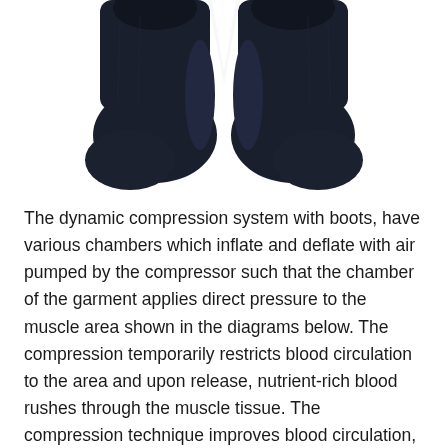[Figure (photo): Two dark navy compression boot socks viewed from above, side by side, showing the top/opening of the socks against a white background.]
The dynamic compression system with boots, have various chambers which inflate and deflate with air pumped by the compressor such that the chamber of the garment applies direct pressure to the muscle area shown in the diagrams below. The compression temporarily restricts blood circulation to the area and upon release, nutrient-rich blood rushes through the muscle tissue. The compression technique improves blood circulation, promotes lymphatic fluid movement, helps remove lactic acid, reduces inflammation, prevents stiffness and improves flexibility.